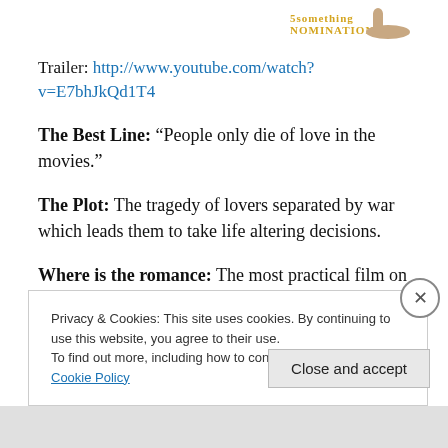[Figure (illustration): Top strip with logo text '5 SOMETHING SOMETHING' in gold and partial shoe/feet image on right]
Trailer: http://www.youtube.com/watch?v=E7bhJkQd1T4
The Best Line: “People only die of love in the movies.”
The Plot: The tragedy of lovers separated by war which leads them to take life altering decisions.
Where is the romance: The most practical film on love.
6. Before Sunset (2004) [ IMDB: 8.0, Rotten Tomaotes: 95%]
Privacy & Cookies: This site uses cookies. By continuing to use this website, you agree to their use.
To find out more, including how to control cookies, see here: Cookie Policy
Close and accept